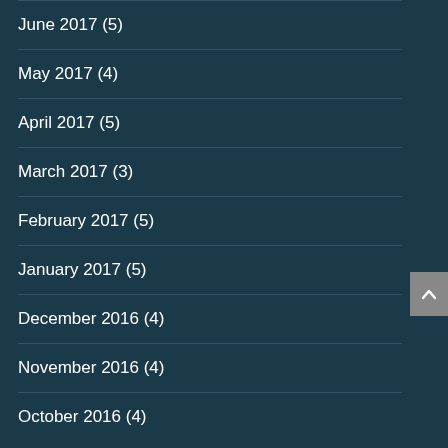June 2017 (5)
May 2017 (4)
April 2017 (5)
March 2017 (3)
February 2017 (5)
January 2017 (5)
December 2016 (4)
November 2016 (4)
October 2016 (4)